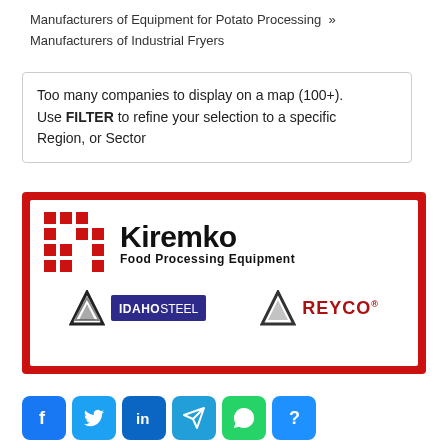Manufacturers of Equipment for Potato Processing » Manufacturers of Industrial Fryers
Too many companies to display on a map (100+). Use FILTER to refine your selection to a specific Region, or Sector
[Figure (logo): Kiremko Food Processing Equipment banner with Idaho Steel and Reyco logos on a red-bordered white background]
[Figure (infographic): Social sharing buttons: Facebook, Twitter, LinkedIn, Telegram, WhatsApp, and unknown]